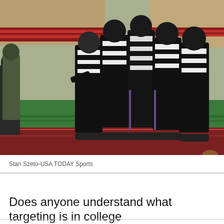[Figure (photo): Group of college football referees in black and white striped uniforms huddled together on a football field. Stadium seating visible in background. One referee holds a football.]
Stan Szeto-USA TODAY Sports
Does anyone understand what targeting is in college